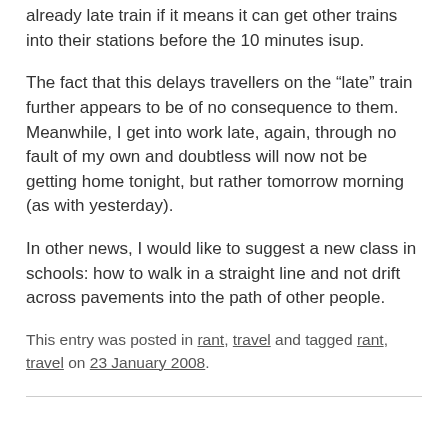already late train if it means it can get other trains into their stations before the 10 minutes isup.
The fact that this delays travellers on the “late” train further appears to be of no consequence to them. Meanwhile, I get into work late, again, through no fault of my own and doubtless will now not be getting home tonight, but rather tomorrow morning (as with yesterday).
In other news, I would like to suggest a new class in schools: how to walk in a straight line and not drift across pavements into the path of other people.
This entry was posted in rant, travel and tagged rant, travel on 23 January 2008.